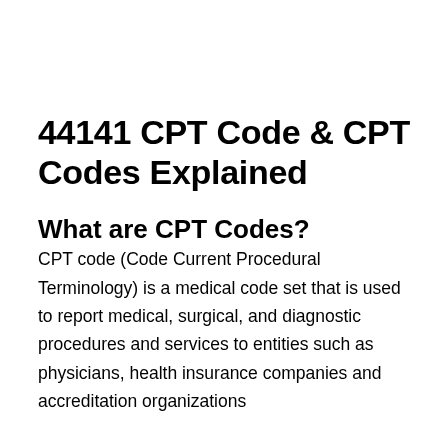44141 CPT Code & CPT Codes Explained
What are CPT Codes?
CPT code (Code Current Procedural Terminology) is a medical code set that is used to report medical, surgical, and diagnostic procedures and services to entities such as physicians, health insurance companies and accreditation organizations